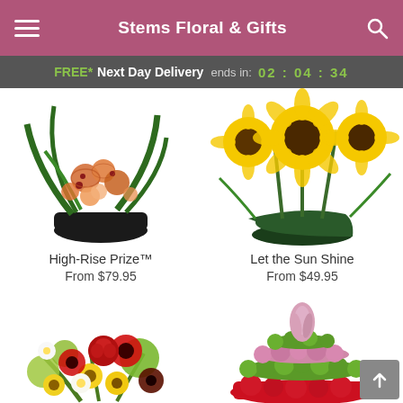Stems Floral & Gifts
FREE* Next Day Delivery ends in: 02 : 04 : 34
[Figure (photo): Flower arrangement: High-Rise Prize with tropical leaves and orange/peach alstroemeria blooms in a dark bowl]
High-Rise Prize™
From $79.95
[Figure (photo): Flower arrangement: Let the Sun Shine with large yellow sunflowers in a dark green round vase]
Let the Sun Shine
From $49.95
[Figure (photo): Colorful bouquet with red roses, red gerberas, yellow daisies, white alstroemeria and green spider mums]
[Figure (photo): Round tiered floral arrangement with pink carnations, green button mums, red carnations and a pink tulip center]